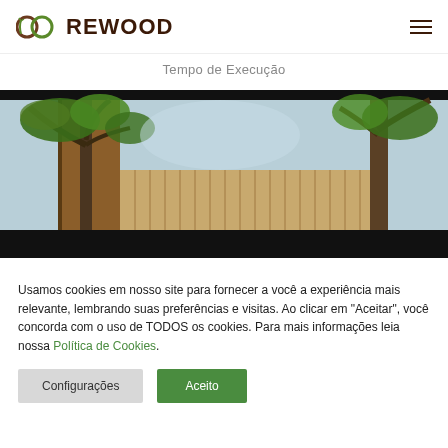REWOOD
Tempo de Execução
[Figure (photo): Exterior photo of a wooden building with large trees in the foreground against a blue sky, with vertical wooden slats visible]
Usamos cookies em nosso site para fornecer a você a experiência mais relevante, lembrando suas preferências e visitas. Ao clicar em "Aceitar", você concorda com o uso de TODOS os cookies. Para mais informações leia nossa Política de Cookies.
Configurações
Aceito